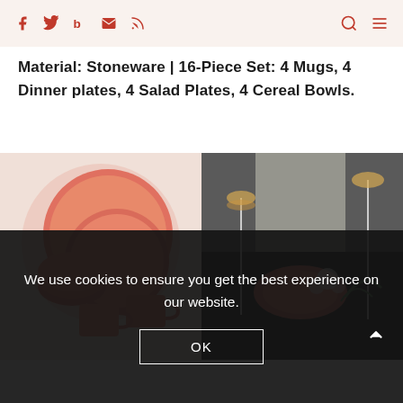Social media icons (Facebook, Twitter, Bloglovin, Email, RSS) and search/menu icons
Material: Stoneware | 16-Piece Set: 4 Mugs, 4 Dinner plates, 4 Salad Plates, 4 Cereal Bowls.
[Figure (photo): Two photos side by side: left shows a stacked set of pink/salmon stoneware dishes including plates, bowls and mugs; right shows the same pink stoneware set styled on a dark dining table with champagne glasses and flowers.]
We use cookies to ensure you get the best experience on our website.
OK